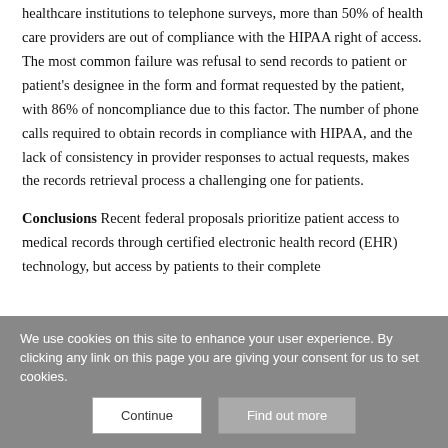healthcare institutions to telephone surveys, more than 50% of health care providers are out of compliance with the HIPAA right of access. The most common failure was refusal to send records to patient or patient's designee in the form and format requested by the patient, with 86% of noncompliance due to this factor. The number of phone calls required to obtain records in compliance with HIPAA, and the lack of consistency in provider responses to actual requests, makes the records retrieval process a challenging one for patients.
Conclusions Recent federal proposals prioritize patient access to medical records through certified electronic health record (EHR) technology, but access by patients to their complete
We use cookies on this site to enhance your user experience. By clicking any link on this page you are giving your consent for us to set cookies.